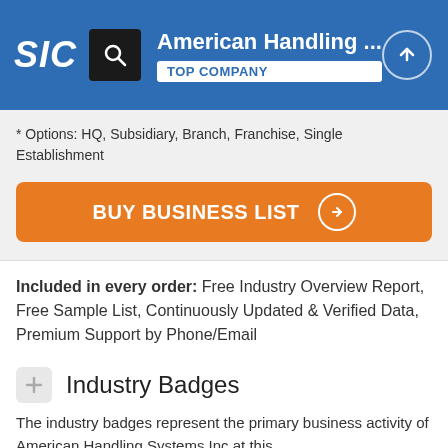SIC | American Handling ... | TOP COMPANY
* Options: HQ, Subsidiary, Branch, Franchise, Single Establishment
BUY BUSINESS LIST
Included in every order: Free Industry Overview Report, Free Sample List, Continuously Updated & Verified Data, Premium Support by Phone/Email
Industry Badges
The industry badges represent the primary business activity of American Handling Systems Inc at this